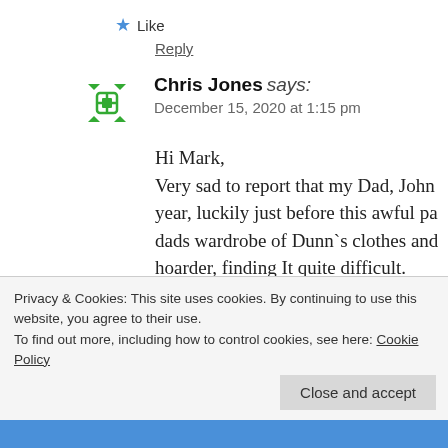★ Like
Reply
Chris Jones says: December 15, 2020 at 1:15 pm
Hi Mark,
Very sad to report that my Dad, John year, luckily just before this awful pa dads wardrobe of Dunn`s clothes and hoarder, finding It quite difficult.
The names you quote though do give The old Gent, was there ever a greate
Privacy & Cookies: This site uses cookies. By continuing to use this website, you agree to their use.
To find out more, including how to control cookies, see here: Cookie Policy
Close and accept